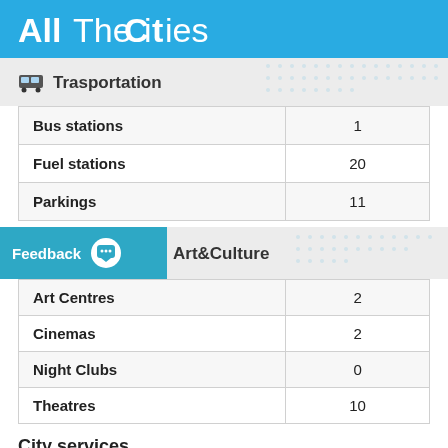[Figure (logo): AllTheCities logo - white text on blue background]
Trasportation
| Category | Count |
| --- | --- |
| Bus stations | 1 |
| Fuel stations | 20 |
| Parkings | 11 |
Art&Culture
| Category | Count |
| --- | --- |
| Art Centres | 2 |
| Cinemas | 2 |
| Night Clubs | 0 |
| Theatres | 10 |
City services